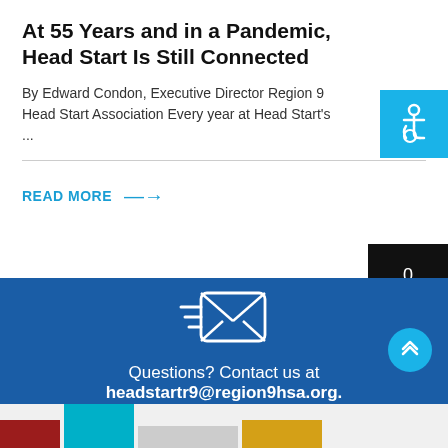At 55 Years and in a Pandemic, Head Start Is Still Connected
By Edward Condon, Executive Director Region 9 Head Start Association Every year at Head Start's ...
READ MORE →
[Figure (illustration): Accessibility icon - white wheelchair symbol on cyan/blue background square, top right corner]
[Figure (illustration): Shopping cart icon with count 0, black background, right side]
[Figure (illustration): Email/envelope icon with motion lines (fast mail) in white on blue background]
Questions? Contact us at headstartr9@region9hsa.org.
[Figure (illustration): Scroll-to-top button, cyan circle with double upward chevron arrows]
[Figure (illustration): Bottom footer area with colored geometric shapes: dark red, teal, gray, gold]